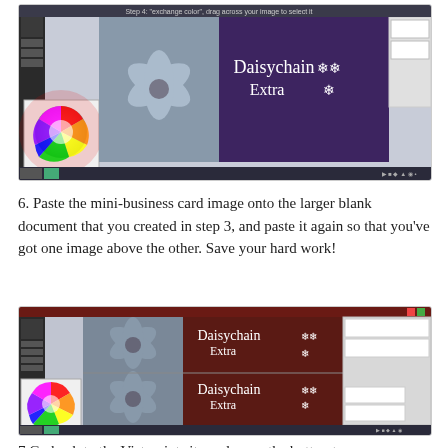[Figure (screenshot): Screenshot of image editing software showing a Daisychain Extra mini-business card design with a flower photo and color wheel panel]
6. Paste the mini-business card image onto the larger blank document that you created in step 3, and paste it again so that you've got one image above the other. Save your hard work!
[Figure (screenshot): Screenshot of image editing software showing two stacked copies of the Daisychain Extra mini-business card design with flower photo and color wheel panel]
7.Go back to the Vistaprint site and press the button to